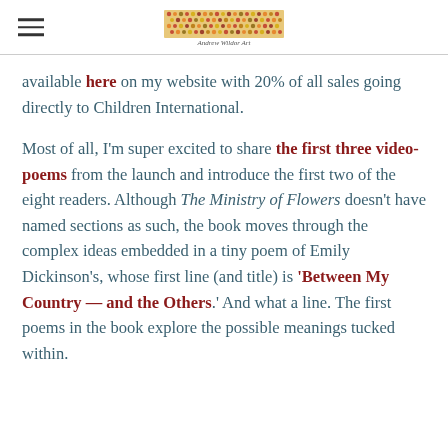Andrew Wildor [logo image]
available here on my website with 20% of all sales going directly to Children International.
Most of all, I'm super excited to share the first three video-poems from the launch and introduce the first two of the eight readers. Although The Ministry of Flowers doesn't have named sections as such, the book moves through the complex ideas embedded in a tiny poem of Emily Dickinson's, whose first line (and title) is 'Between My Country — and the Others.' And what a line. The first poems in the book explore the possible meanings tucked within.